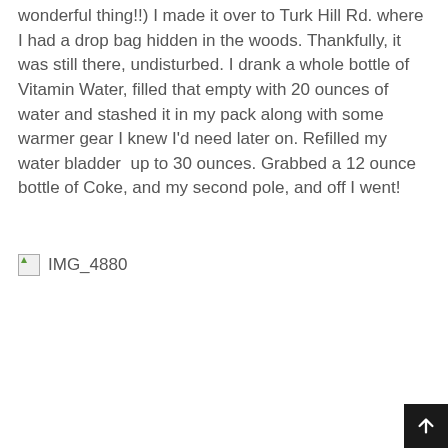wonderful thing!!) I made it over to Turk Hill Rd. where I had a drop bag hidden in the woods. Thankfully, it was still there, undisturbed. I drank a whole bottle of Vitamin Water, filled that empty with 20 ounces of water and stashed it in my pack along with some warmer gear I knew I'd need later on. Refilled my water bladder  up to 30 ounces. Grabbed a 12 ounce bottle of Coke, and my second pole, and off I went!
[Figure (photo): Broken image placeholder showing IMG_4880 label]